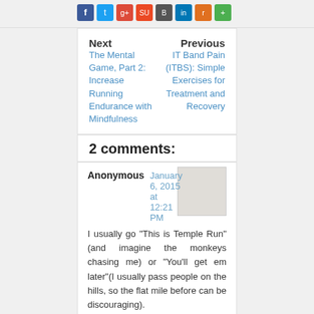[Figure (other): Row of social sharing icon buttons (Facebook, Twitter, Google+, and others)]
Next
The Mental Game, Part 2: Increase Running Endurance with Mindfulness
Previous
IT Band Pain (ITBS): Simple Exercises for Treatment and Recovery
2 comments:
Anonymous  January 6, 2015 at 12:21 PM
I usually go "This is Temple Run"(and imagine the monkeys chasing me) or "You'll get em later"(I usually pass people on the hills, so the flat mile before can be discouraging).
Reply
▼ Replies
Martin Karl  January 6, 2015 at 12:51 PM
Good one!
Reply